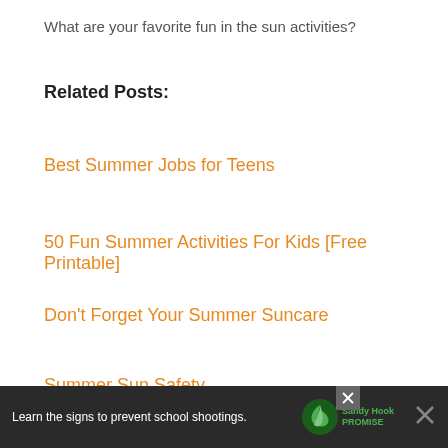What are your favorite fun in the sun activities?
Related Posts:
Best Summer Jobs for Teens
50 Fun Summer Activities For Kids [Free Printable]
Don't Forget Your Summer Suncare
Summer Sun Safety
[Figure (screenshot): Social sharing buttons: Facebook with 111 count, Twitter, Pinterest, and 111 SHARES total]
[Figure (screenshot): Ad banner at bottom: Sandy Hook Promise ad with text 'Learn the signs to prevent school shootings.']